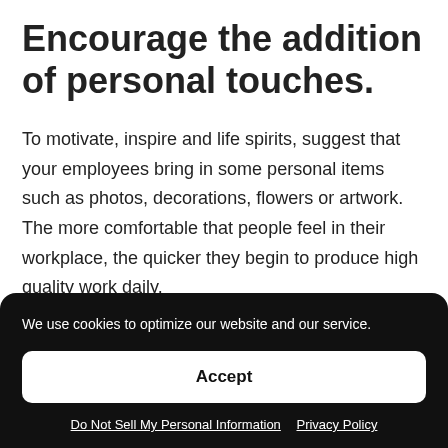Encourage the addition of personal touches.
To motivate, inspire and life spirits, suggest that your employees bring in some personal items such as photos, decorations, flowers or artwork. The more comfortable that people feel in their workplace, the quicker they begin to produce high quality work daily.
We use cookies to optimize our website and our service.
Accept
Do Not Sell My Personal Information   Privacy Policy